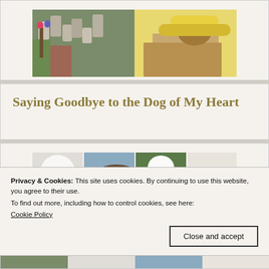[Figure (photo): Collage of two photos: left shows metal watering cans on a green wall with flowers; right shows a squirrel in a yellow hat on a cardboard box]
Saying Goodbye to the Dog of My Heart
[Figure (photo): Strip of four photos of a small white fluffy dog (Bichon Frise) in various scenes]
Privacy & Cookies: This site uses cookies. By continuing to use this website, you agree to their use.
To find out more, including how to control cookies, see here:
Cookie Policy
Close and accept
[Figure (photo): Bottom strip photos partially visible]